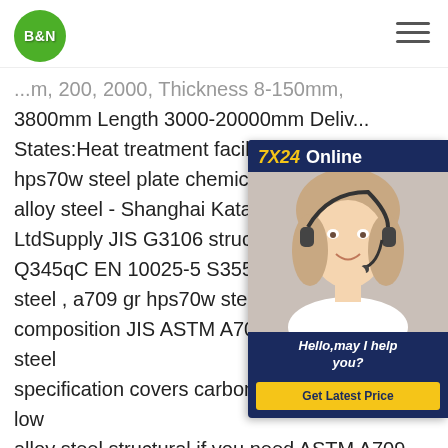B&N [logo] [hamburger menu]
...m, 200, 2000, Thickness 8-150mm, 3800mm Length 3000-20000mm Delivery States:Heat treatment facilities for hot a... hps70w steel plate chemical compositi... alloy steel - Shanghai Katalor Enterpris... LtdSupply JIS G3106 structural steel , Q345qC EN 10025-5 S355J2WP, A709... steel , a709 gr hps70w steel plate che... composition JIS ASTM A709 Grade HPS70W steel specification covers carbon and high-strength low alloy steel structural,if you need ASTM A709 Grade HPS70W material chemical composition ,ASTM A709 Grade HPS70W structural steel mechanical properties...
[Figure (other): 7X24 Online chat widget with customer service representative photo, 'Hello,may I help you?' text and 'Get Latest Price' button]